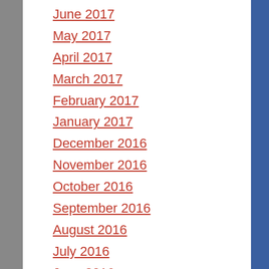June 2017
May 2017
April 2017
March 2017
February 2017
January 2017
December 2016
November 2016
October 2016
September 2016
August 2016
July 2016
June 2016
May 2016
April 2016